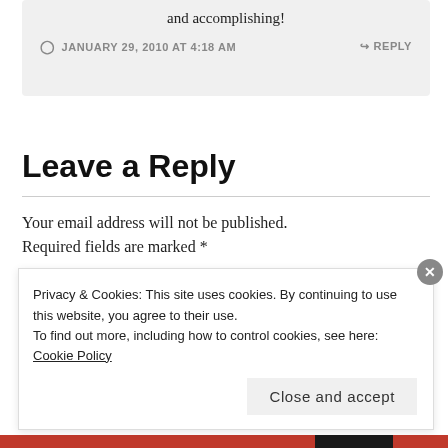and accomplishing!
JANUARY 29, 2010 AT 4:18 AM
↳ REPLY
Leave a Reply
Your email address will not be published. Required fields are marked *
Privacy & Cookies: This site uses cookies. By continuing to use this website, you agree to their use.
To find out more, including how to control cookies, see here: Cookie Policy
Close and accept